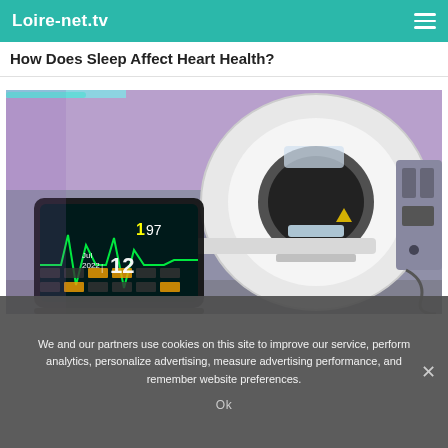Loire-net.tv
How Does Sleep Affect Heart Health?
[Figure (photo): MRI/CT scanner machine in a medical facility with purple/blue lighting, alongside a medical monitor showing waveforms. Date overlay shows Jul 2022 | 12]
We and our partners use cookies on this site to improve our service, perform analytics, personalize advertising, measure advertising performance, and remember website preferences.
Ok